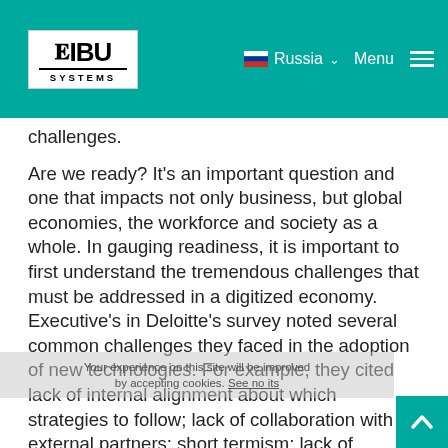WIBU SYSTEMS | Russia | Menu
challenges.
Are we ready? It's an important question and one that impacts not only business, but global economies, the workforce and society as a whole. In gauging readiness, it is important to first understand the tremendous challenges that must be addressed in a digitized economy. Executive's in Deloitte's survey noted several common challenges they faced in the adoption of new technologies. For example, they cited lack of internal alignment about which strategies to follow; lack of collaboration with external partners; short termism; lack of adequate technologies, lack of rank-and-file adoption; and lack of vision by leaders, to name just a few. Only 3% of the executives expressed that they were not challenged by the adoption of the new technologies inherent with the IoT.